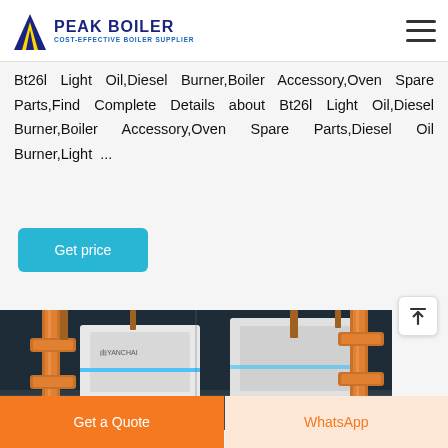PEAK BOILER COST-EFFECTIVE BOILER SUPPLIER
Bt26l Light Oil,Diesel Burner,Boiler Accessory,Oven Spare Parts,Find Complete Details about Bt26l Light Oil,Diesel Burner,Boiler Accessory,Oven Spare Parts,Diesel Oil Burner,Light ...
Get price
[Figure (photo): Industrial boiler room with white boiler units and yellow/orange metal pipes and fittings]
Get a Quote
WhatsApp